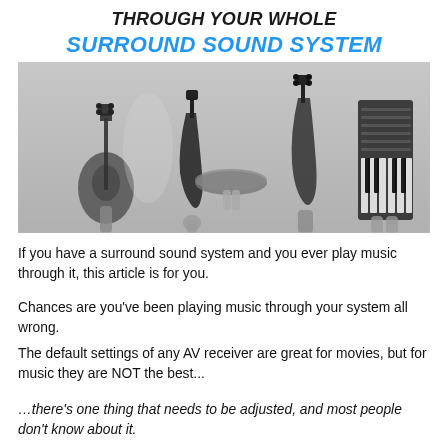THROUGH YOUR WHOLE SURROUND SOUND SYSTEM
[Figure (photo): Black and white photo of multiple hands holding up musical instruments including acoustic guitar, electric guitars, bass guitar, a cymbal, and a keyboard/synthesizer against a light grey sky background.]
If you have a surround sound system and you ever play music through it, this article is for you.
Chances are you've been playing music through your system all wrong.
The default settings of any AV receiver are great for movies, but for music they are NOT the best...
…there's one thing that needs to be adjusted, and most people don't know about it.